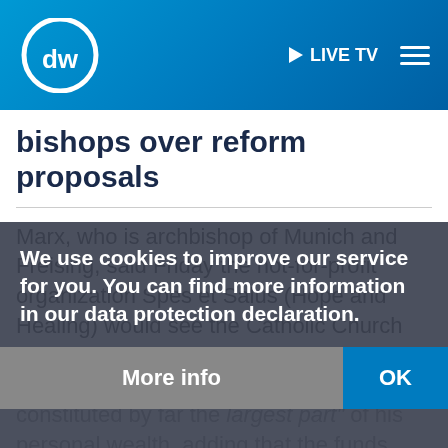[Figure (logo): DW (Deutsche Welle) logo — white circle with DW letters, blue background header with LIVE TV button and hamburger menu]
bishops over reform proposals
Marx, who is archbishop of Munich and Freising, said Friday the not-for-profit organization Spes et Salus (Hope and Healing) would see the Catholic Church engaging, trying to help and protect their experiences are said his contribution constituted by far the largest part" of his personal wealth, adding that the funds should complement the commitment to prevention and to coming to
We use cookies to improve our service for you. You can find more information in our data protection declaration.
More info
OK